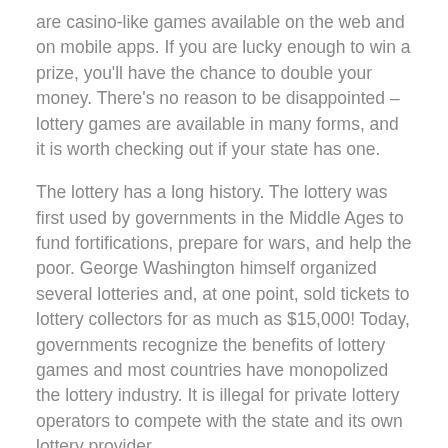are casino-like games available on the web and on mobile apps. If you are lucky enough to win a prize, you'll have the chance to double your money. There's no reason to be disappointed – lottery games are available in many forms, and it is worth checking out if your state has one.
The lottery has a long history. The lottery was first used by governments in the Middle Ages to fund fortifications, prepare for wars, and help the poor. George Washington himself organized several lotteries and, at one point, sold tickets to lottery collectors for as much as $15,000! Today, governments recognize the benefits of lottery games and most countries have monopolized the lottery industry. It is illegal for private lottery operators to compete with the state and its own lottery provider.
Apps have also made lottery betting easier and more convenient than ever. Lottery apps can be downloaded from the app store and give you access to major lottery systems around the world. These apps even let you play the lottery in countries other than the US. A lottery app can be a great option if you're traveling, since you can play the lottery on the go from anywhere with a phone and an internet connection. And the process is essentially the same as